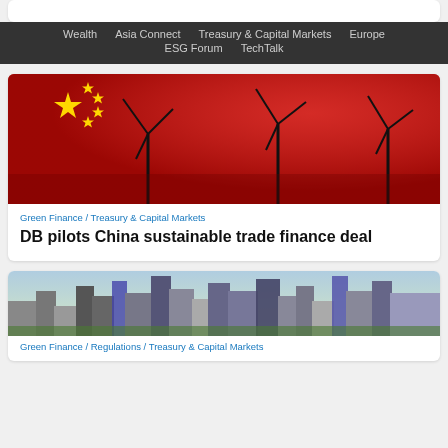Wealth | Asia Connect | Treasury & Capital Markets | Europe | ESG Forum | TechTalk
[Figure (photo): Chinese flag with wind turbines overlaid, red background with yellow stars]
Green Finance / Treasury & Capital Markets
DB pilots China sustainable trade finance deal
[Figure (photo): Aerial cityscape of a modern Asian city with skyscrapers]
Green Finance / Regulations / Treasury & Capital Markets